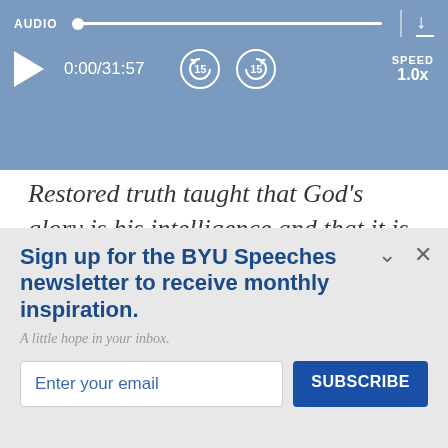[Figure (screenshot): Audio player bar with blue background showing play button, time 0:00/31:57, rewind and fast-forward 15s buttons, speed 1.0x, and download icon. Progress track at top labeled AUDIO.]
Restored truth taught that God's glory is his intelligence and that it is to be our glory as well.
That inestimable doctrine, restored to a darkened world more than a century and a
Sign up for the BYU Speeches newsletter to receive monthly inspiration.
A little hope in your inbox.
Enter your email
SUBSCRIBE